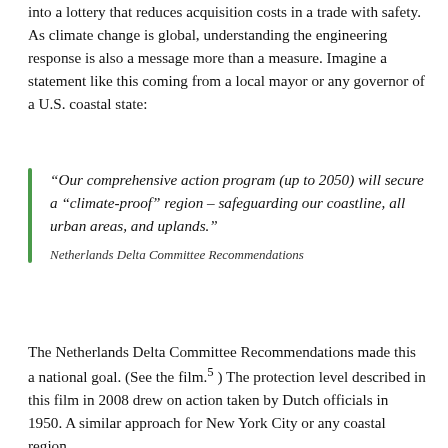into a lottery that reduces acquisition costs in a trade with safety. As climate change is global, understanding the engineering response is also a message more than a measure. Imagine a statement like this coming from a local mayor or any governor of a U.S. coastal state:
“Our comprehensive action program (up to 2050) will secure a “climate-proof” region – safeguarding our coastline, all urban areas, and uplands.”
Netherlands Delta Committee Recommendations
The Netherlands Delta Committee Recommendations made this a national goal. (See the film.⁵ ) The protection level described in this film in 2008 drew on action taken by Dutch officials in 1950. A similar approach for New York City or any coastal region